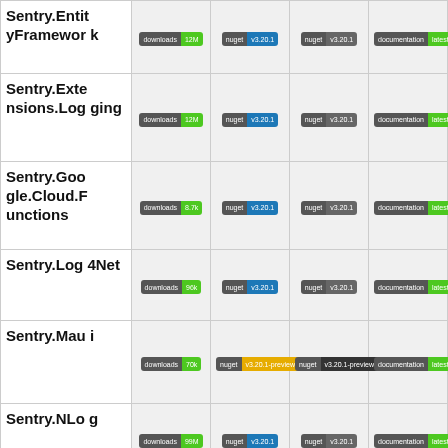| Package | Downloads | NuGet (stable) | NuGet (pre) | Docs |
| --- | --- | --- | --- | --- |
| Sentry.EntityFramework | downloads 12M | nuget v3.20.1 | nuget v3.20.1 | documentation latest |
| Sentry.Extensions.Logging | downloads 12M | nuget v3.20.1 | nuget v3.20.1 | documentation latest |
| Sentry.Google.Cloud.Functions | downloads 8.7k | nuget v3.20.1 | nuget v3.20.1 | documentation latest |
| Sentry.Log4Net | downloads 96k | nuget v3.20.1 | nuget v3.20.1 | documentation latest |
| Sentry.Maui | downloads 70k | nuget v3.20.1-preview.2 | nuget v3.20.1-preview.2 | documentation latest |
| Sentry.NLog | downloads 99M | nuget v3.20.1 | nuget v3.20.1 | documentation latest |
| Sentry.Serilog | downloads ... | nuget v3.20.1 | nuget v3.20.1 | documentation latest |